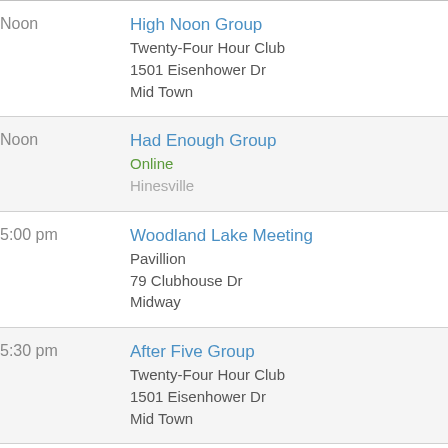| Time | Group / Location |
| --- | --- |
| Noon | High Noon Group
Twenty-Four Hour Club
1501 Eisenhower Dr
Mid Town |
| Noon | Had Enough Group
Online
Hinesville |
| 5:00 pm | Woodland Lake Meeting
Pavillion
79 Clubhouse Dr
Midway |
| 5:30 pm | After Five Group
Twenty-Four Hour Club
1501 Eisenhower Dr
Mid Town |
| 5:30 pm | White Bluff Group
White Bluff Presbyterian Church
10719 White Bluff Rd |